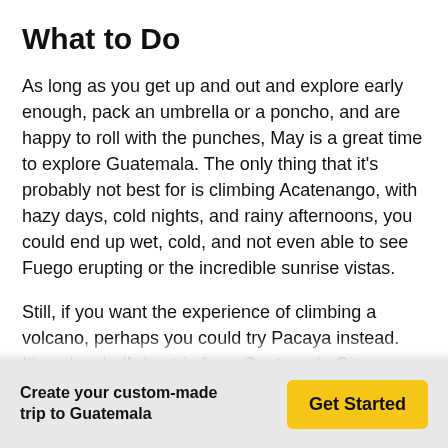What to Do
As long as you get up and out and explore early enough, pack an umbrella or a poncho, and are happy to roll with the punches, May is a great time to explore Guatemala. The only thing that it's probably not best for is climbing Acatenango, with hazy days, cold nights, and rainy afternoons, you could end up wet, cold, and not even able to see Fuego erupting or the incredible sunrise vistas.
Still, if you want the experience of climbing a volcano, perhaps you could try Pacaya instead. It's only a half-day trip from Guatemala City or Antigua, and you can leave early in the morning to get the best weather. At least that way even if the views aren't the best, you'll still be able to see the steam
Create your custom-made trip to Guatemala
Get Started